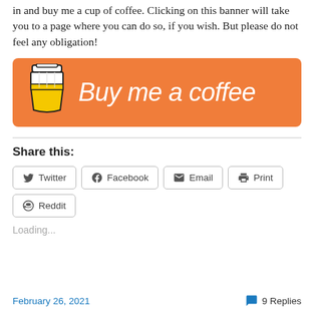in and buy me a cup of coffee. Clicking on this banner will take you to a page where you can do so, if you wish. But please do not feel any obligation!
[Figure (illustration): Orange 'Buy me a coffee' banner with a coffee cup icon on the left and the text 'Buy me a coffee' in white italic script on the right.]
Share this:
Twitter  Facebook  Email  Print  Reddit
Loading...
February 26, 2021   9 Replies